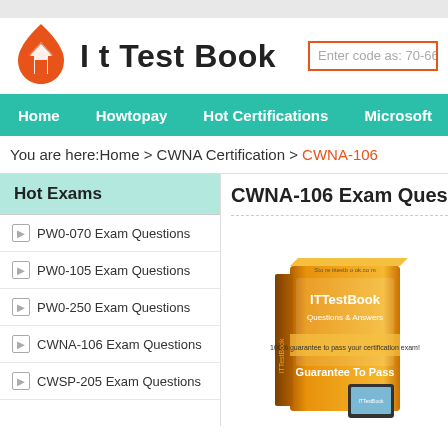[Figure (logo): IT Test Book website logo with orange house icon and site name]
Enter code as: 70-66
Home | Howtopay | Hot Certifications | Microsoft | IB
You are here: Home > CWNA Certification > CWNA-106
Hot Exams
PW0-070 Exam Questions
PW0-105 Exam Questions
PW0-250 Exam Questions
CWNA-106 Exam Questions
CWSP-205 Exam Questions
CWNA-106 Exam Quest
[Figure (photo): ITTestBook Questions & Answers book with Guarantee To Pass label]